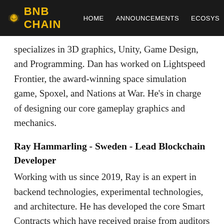BNB CHAIN  HOME  ANNOUNCEMENTS  ECOSYS
specializes in 3D graphics, Unity, Game Design, and Programming. Dan has worked on Lightspeed Frontier, the award-winning space simulation game, Spoxel, and Nations at War. He's in charge of designing our core gameplay graphics and mechanics.
Ray Hammarling - Sweden - Lead Blockchain Developer
Working with us since 2019, Ray is an expert in backend technologies, experimental technologies, and architecture. He has developed the core Smart Contracts which have received praise from auditors and open source contributors for their design and efficiency. https://github.com/raymond-h